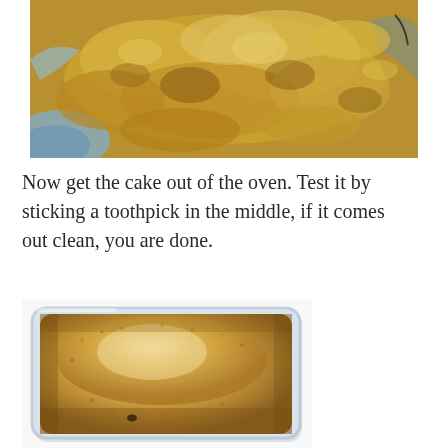[Figure (photo): Close-up photo of cooked apple filling or chunky applesauce on a decorated plate, golden-yellow color with chunky texture, blue and white decorative plate visible at edges]
Now get the cake out of the oven. Test it by sticking a toothpick in the middle, if it comes out clean, you are done.
[Figure (photo): Photo of a golden-brown baked cake in a rectangular glass baking dish, top surface is lightly browned and slightly domed, with a small hole visible from toothpick test]